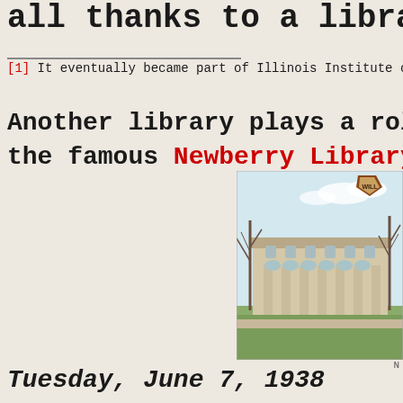all thanks to a library!
[1] It eventually became part of Illinois Institute of
Another library plays a role
the famous Newberry Library.
[Figure (photo): Vintage postcard-style illustration of the Newberry Library building in Chicago, with bare trees in foreground, green lawn, and a shield logo with 'WILL' text at the top.]
Tuesday, June 7, 1938